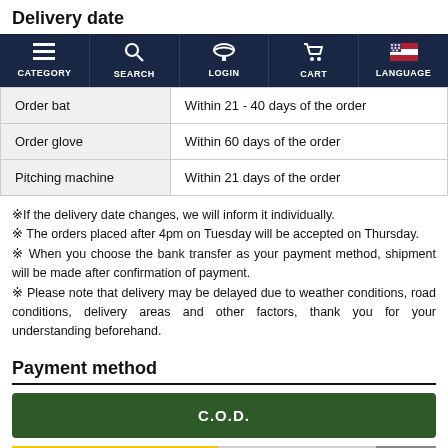Delivery date
[Figure (screenshot): Navigation bar with dark navy background showing CATEGORY, SEARCH, LOGIN, CART, and LANGUAGE icons and labels]
| Order bat | Within 21 - 40 days of the order |
| Order glove | Within 60 days of the order |
| Pitching machine | Within 21 days of the order |
※If the delivery date changes, we will inform it individually.
※ The orders placed after 4pm on Tuesday will be accepted on Thursday.
※ When you choose the bank transfer as your payment method, shipment will be made after confirmation of payment.
※ Please note that delivery may be delayed due to weather conditions, road conditions, delivery areas and other factors, thank you for your understanding beforehand.
Payment method
[Figure (screenshot): C.O.D. dark green button]
[Figure (screenshot): Payment method logos bar including Kuroneko Yamato collect delivery and other payment method icons on yellow and grey background]